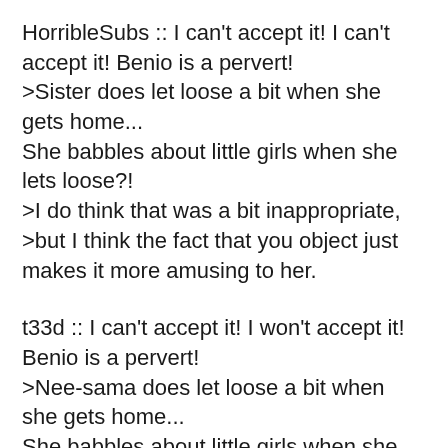HorribleSubs :: I can't accept it! I can't accept it! Benio is a pervert!
>Sister does let loose a bit when she gets home...
She babbles about little girls when she lets loose?!
>I do think that was a bit inappropriate,
>but I think the fact that you object just makes it more amusing to her.
t33d :: I can't accept it! I won't accept it! Benio is a pervert!
>Nee-sama does let loose a bit when she gets home...
She babbles about little girls when she lets loose?!
>I do think that was a bit inappropriate,